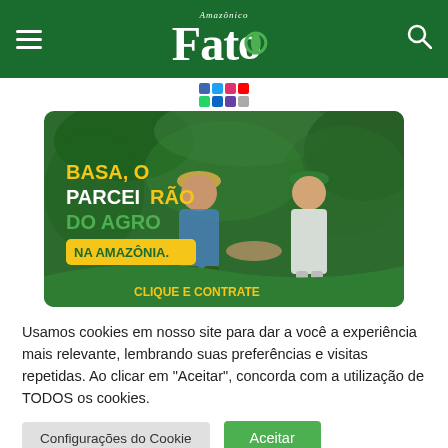Fato Amazônico
[Figure (photo): Advertisement banner for BASA bank showing two people shaking hands in front of lush green vegetation. Text on banner reads: BASA, O PARCEIRÃO DO AGRO NA AMAZÔNIA. CLIQUE E CONTRATE]
Usamos cookies em nosso site para dar a você a experiência mais relevante, lembrando suas preferências e visitas repetidas. Ao clicar em "Aceitar", concorda com a utilização de TODOS os cookies.
Configurações do Cookie
Aceitar